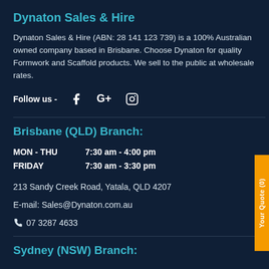Dynaton Sales & Hire
Dynaton Sales & Hire (ABN: 28 141 123 739) is a 100% Australian owned company based in Brisbane. Choose Dynaton for quality Formwork and Scaffold products. We sell to the public at wholesale rates.
Follow us - [Facebook] [Google+] [Instagram]
Brisbane (QLD) Branch:
MON - THU 7:30 am - 4:00 pm
FRIDAY      7:30 am - 3:30 pm
213 Sandy Creek Road, Yatala, QLD 4207
E-mail: Sales@Dynaton.com.au
07 3287 4633
Sydney (NSW) Branch: